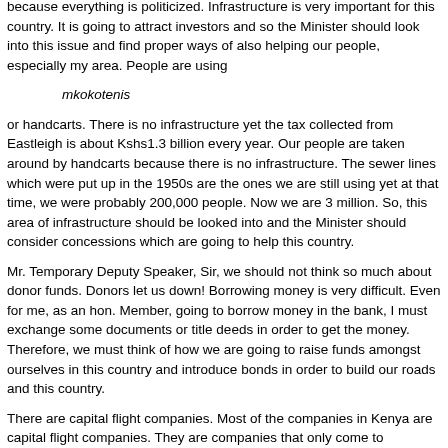because everything is politicized. Infrastructure is very important for this country. It is going to attract investors and so the Minister should look into this issue and find proper ways of also helping our people, especially my area. People are using
mkokotenis
or handcarts. There is no infrastructure yet the tax collected from Eastleigh is about Kshs1.3 billion every year. Our people are taken around by handcarts because there is no infrastructure. The sewer lines which were put up in the 1950s are the ones we are still using yet at that time, we were probably 200,000 people. Now we are 3 million. So, this area of infrastructure should be looked into and the Minister should consider concessions which are going to help this country.
Mr. Temporary Deputy Speaker, Sir, we should not think so much about donor funds. Donors let us down! Borrowing money is very difficult. Even for me, as an hon. Member, going to borrow money in the bank, I must exchange some documents or title deeds in order to get the money. Therefore, we must think of how we are going to raise funds amongst ourselves in this country and introduce bonds in order to build our roads and this country.
There are capital flight companies. Most of the companies in Kenya are capital flight companies. They are companies that only come to